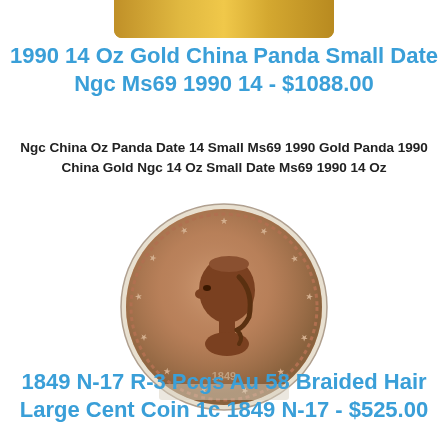[Figure (photo): Top portion of a gold coin or medallion, showing gold-colored surface at the very top of the page.]
1990 14 Oz Gold China Panda Small Date Ngc Ms69 1990 14 - $1088.00
Ngc China Oz Panda Date 14 Small Ms69 1990 Gold Panda 1990 China Gold Ngc 14 Oz Small Date Ms69 1990 14 Oz
[Figure (photo): A large cent coin from 1849 showing the braided hair Liberty portrait on the obverse, brown/copper color with stars around the border.]
1849 N-17 R-3 Pcgs Au 58 Braided Hair Large Cent Coin 1c 1849 N-17 - $525.00